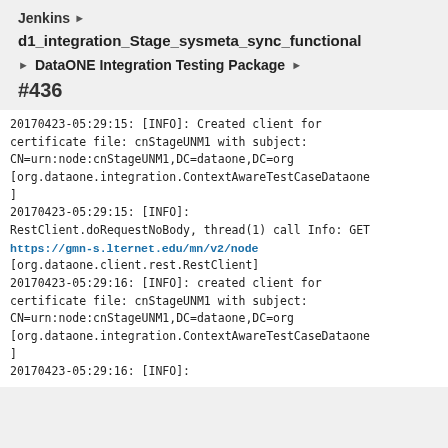Jenkins
d1_integration_Stage_sysmeta_sync_functional
DataONE Integration Testing Package
#436
20170423-05:29:15: [INFO]: Created client for certificate file: cnStageUNM1 with subject: CN=urn:node:cnStageUNM1,DC=dataone,DC=org [org.dataone.integration.ContextAwareTestCaseDataone]
20170423-05:29:15: [INFO]: RestClient.doRequestNoBody, thread(1) call Info: GET https://gmn-s.lternet.edu/mn/v2/node [org.dataone.client.rest.RestClient]
20170423-05:29:16: [INFO]: created client for certificate file: cnStageUNM1 with subject: CN=urn:node:cnStageUNM1,DC=dataone,DC=org [org.dataone.integration.ContextAwareTestCaseDataone]
20170423-05:29:16: [INFO]: